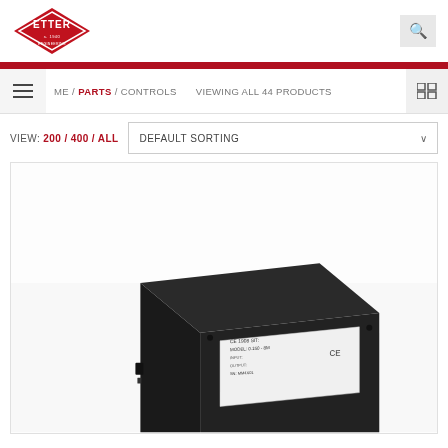[Figure (logo): Etter Engineering logo - red diamond shape with company name]
ME / PARTS / CONTROLS   VIEWING ALL 44 PRODUCTS
VIEW: 200 / 400 / ALL   DEFAULT SORTING
[Figure (photo): Black electronic control box/module with a white label sticker showing product information, viewed from a slight angle]